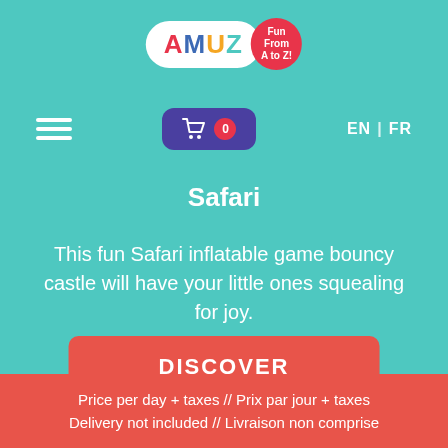[Figure (logo): AMUZ logo — white bubble with colorful letters A M U Z and a red tag reading Fun From A to Z!]
[Figure (infographic): Navigation bar with hamburger menu icon on left, purple shopping cart button with 0 badge in center, and EN | FR language switcher on right]
Safari
This fun Safari inflatable game bouncy castle will have your little ones squealing for joy.
DISCOVER
Price per day + taxes // Prix par jour + taxes
Delivery not included // Livraison non comprise